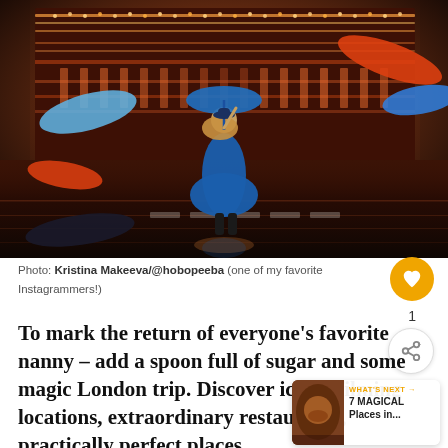[Figure (photo): A woman in a blue dress and hat holding a blue umbrella, running on a reflective wet street in front of an ornate illuminated building (Harrods), with colorful umbrellas floating in the air around her.]
Photo: Kristina Makeeva/@hobopeeba (one of my favorite Instagrammers!)
To mark the return of everyone's favorite nanny – add a spoon full of sugar and some magic London trip. Discover iconic filming locations, extraordinary restaurants, practically perfect places